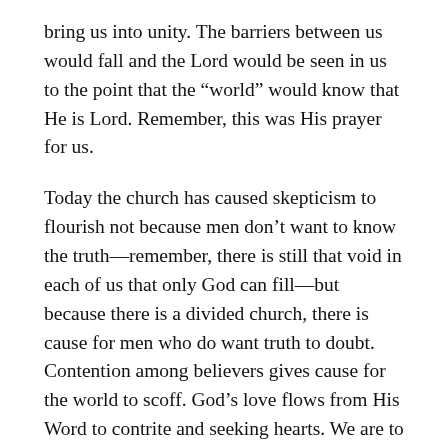bring us into unity. The barriers between us would fall and the Lord would be seen in us to the point that the “world” would know that He is Lord. Remember, this was His prayer for us.
Today the church has caused skepticism to flourish not because men don’t want to know the truth—remember, there is still that void in each of us that only God can fill—but because there is a divided church, there is cause for men who do want truth to doubt. Contention among believers gives cause for the world to scoff. God’s love flows from His Word to contrite and seeking hearts. We are to be about causing others to seek God’s word and His truth. The coming Tribulation is a teaching of the Didache, and that Tribulation will call the bride to preparation unlike at any time in man’s history. Unity